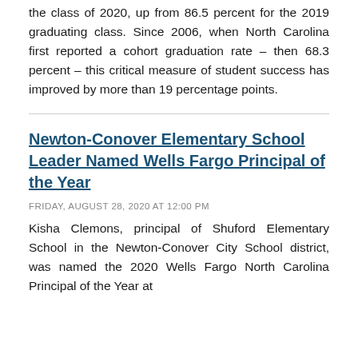the class of 2020, up from 86.5 percent for the 2019 graduating class. Since 2006, when North Carolina first reported a cohort graduation rate – then 68.3 percent – this critical measure of student success has improved by more than 19 percentage points.
Newton-Conover Elementary School Leader Named Wells Fargo Principal of the Year
FRIDAY, AUGUST 28, 2020 AT 12:00 PM
Kisha Clemons, principal of Shuford Elementary School in the Newton-Conover City School district, was named the 2020 Wells Fargo North Carolina Principal of the Year at